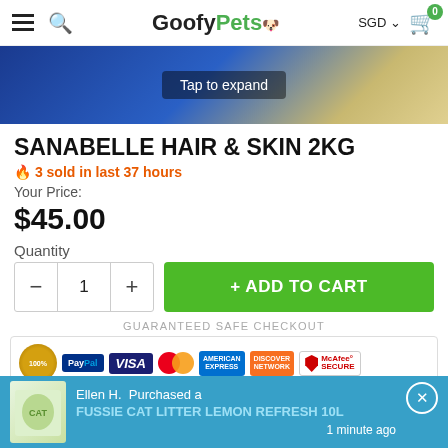GoofyPets — SGD — Cart 0
[Figure (photo): Product image with blue and gold packaging, partially visible, with 'Tap to expand' overlay]
SANABELLE HAIR & SKIN 2KG
🔥 3 sold in last 37 hours
Your Price:
$45.00
Quantity
− 1 + ADD TO CART
GUARANTEED SAFE CHECKOUT
[Figure (infographic): Payment badges: PayPal, VISA, Mastercard, American Express, Discover, McAfee SECURE with 100% seal]
Ellen H.  Purchased a FUSSIE CAT LITTER LEMON REFRESH 10L — 1 minute ago